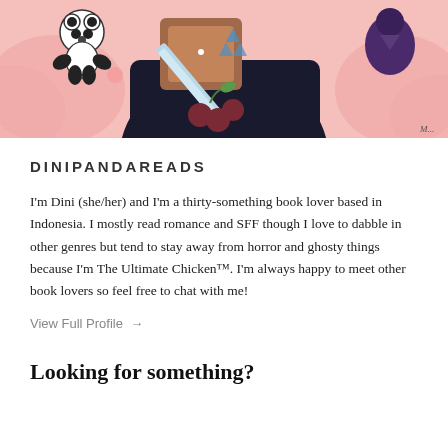[Figure (illustration): Colorful illustration of a stylized character with a box-shaped head wearing a dark outfit, holding a sword/dagger, with a panda figure in the upper left, cherries and leaves on the outfit, and pink cloud-like shapes in the background.]
DINIPANDAREADS
I'm Dini (she/her) and I'm a thirty-something book lover based in Indonesia. I mostly read romance and SFF though I love to dabble in other genres but tend to stay away from horror and ghosty things because I'm The Ultimate Chicken™. I'm always happy to meet other book lovers so feel free to chat with me!
View Full Profile →
Looking for something?